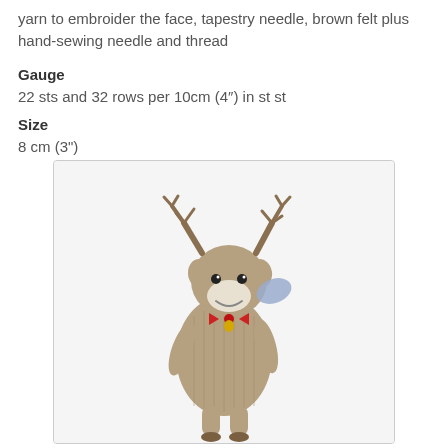yarn to embroider the face, tapestry needle, brown felt plus hand-sewing needle and thread
Gauge
22 sts and 32 rows per 10cm (4″) in st st
Size
8 cm (3")
[Figure (photo): A knitted reindeer toy with brown yarn, antlers, white muzzle, black eyes, red bow at neck, and small hooves. The toy is photographed on a white background.]